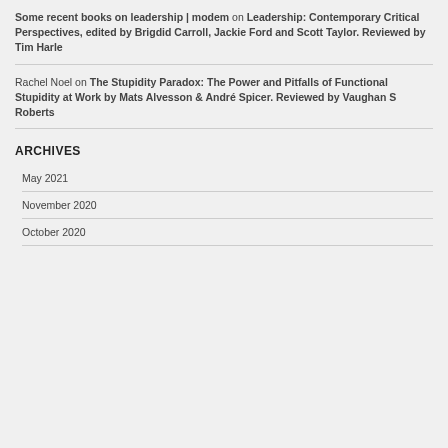Some recent books on leadership | modem on Leadership: Contemporary Critical Perspectives, edited by Brigdid Carroll, Jackie Ford and Scott Taylor. Reviewed by Tim Harle
Rachel Noel on The Stupidity Paradox: The Power and Pitfalls of Functional Stupidity at Work by Mats Alvesson & André Spicer. Reviewed by Vaughan S Roberts
ARCHIVES
May 2021
November 2020
October 2020